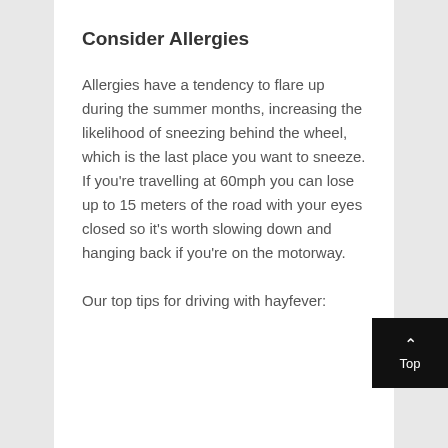Consider Allergies
Allergies have a tendency to flare up during the summer months, increasing the likelihood of sneezing behind the wheel, which is the last place you want to sneeze. If you're travelling at 60mph you can lose up to 15 meters of the road with your eyes closed so it's worth slowing down and hanging back if you're on the motorway.
Our top tips for driving with hayfever: